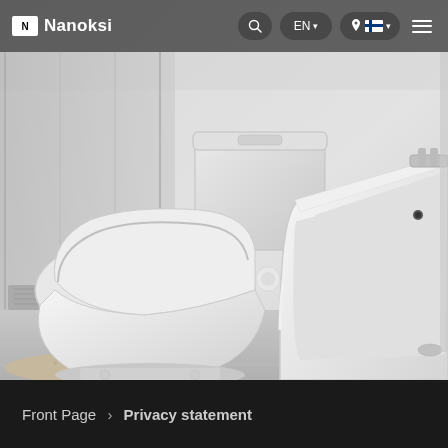Nanoksi — Navigation bar with logo, search, EN language selector, location/Finland flag, and menu icon
[Figure (photo): Bathroom interior with white toilet, cistern, and bathtub on grey tiled floor. Monochrome/desaturated style photo.]
Front Page > Privacy statement